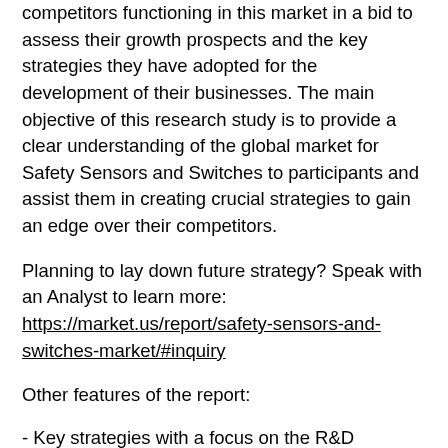competitors functioning in this market in a bid to assess their growth prospects and the key strategies they have adopted for the development of their businesses. The main objective of this research study is to provide a clear understanding of the global market for Safety Sensors and Switches to participants and assist them in creating crucial strategies to gain an edge over their competitors.
Planning to lay down future strategy? Speak with an Analyst to learn more: https://market.us/report/safety-sensors-and-switches-market/#inquiry
Other features of the report:
- Key strategies with a focus on the R&D methods, localization strategies, corporate structure, production capabilities, sales, and performance in various companies.